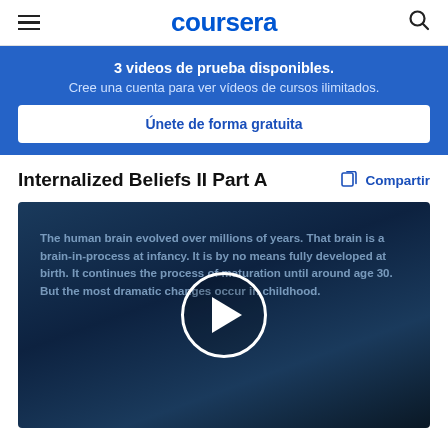coursera
3 videos de prueba disponibles. Cree una cuenta para ver vídeos de cursos ilimitados.
Únete de forma gratuita
Internalized Beliefs II Part A
Compartir
[Figure (screenshot): Video thumbnail with dark blue gradient background showing text: 'The human brain evolved over millions of years. That brain is a brain-in-process at infancy. It is by no means fully developed at birth. It continues the process of maturation until around age 30. But the most dramatic changes occur in childhood.' with a play button circle overlay in the center.]